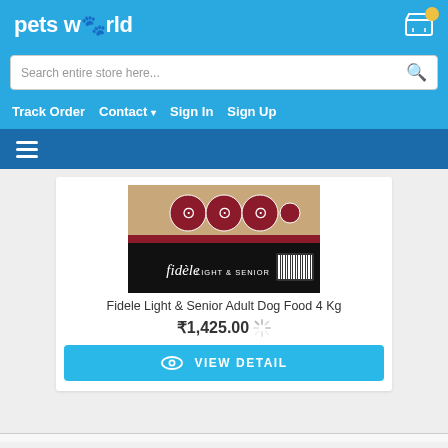petsworld
Search entire store here...
Track Order  Contact  Sign In  Sign Up
[Figure (screenshot): Fidele Light & Senior dog food bag product image showing the top portion of a bag with circular icons and fidele light & senior branding on black strip]
Fidele Light & Senior Adult Dog Food 4 Kg
₹1,425.00
VIEW DETAIL